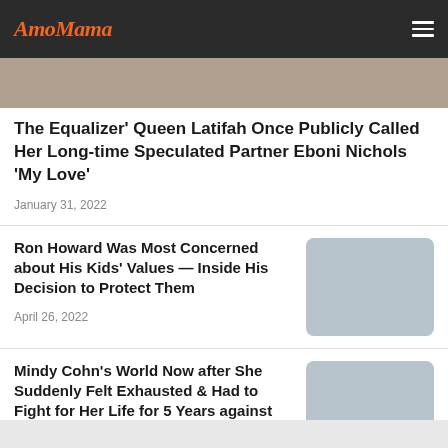AmoMama
[Figure (photo): Partial view of a person or scene at the top of the page, cropped]
The Equalizer' Queen Latifah Once Publicly Called Her Long-time Speculated Partner Eboni Nichols 'My Love'
January 31, 2022
Ron Howard Was Most Concerned about His Kids' Values — Inside His Decision to Protect Them
April 26, 2022
Mindy Cohn's World Now after She Suddenly Felt Exhausted & Had to Fight for Her Life for 5 Years against